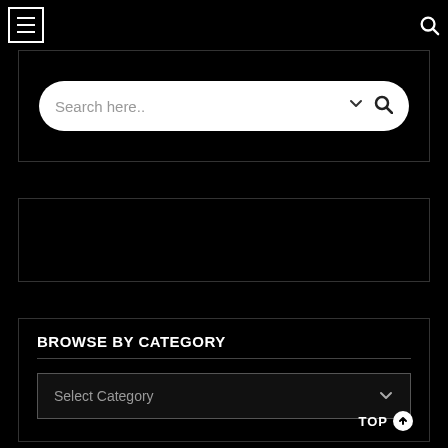[Figure (screenshot): Hamburger menu icon (three horizontal lines) in a square border, top-left navigation]
[Figure (screenshot): Search magnifying glass icon, top-right navigation]
[Figure (screenshot): Search bar panel with rounded white search input containing placeholder text 'Search here..', chevron icon, and magnifying glass icon]
[Figure (screenshot): Empty dark panel with border, second section]
BROWSE BY CATEGORY
[Figure (screenshot): Select Category dropdown box with chevron, inside Browse by Category panel]
TOP